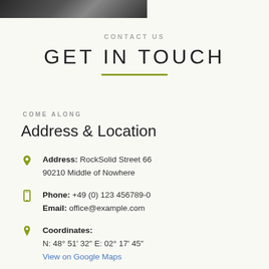[Figure (photo): Dark blurred photo at top left corner]
CONTACT US
GET IN TOUCH
COME ALONG
Address & Location
Address: RockSolid Street 66
90210 Middle of Nowhere
Phone: +49 (0) 123 456789-0
Email: office@example.com
Coordinates:
N: 48° 51' 32" E: 02° 17' 45"
View on Google Maps